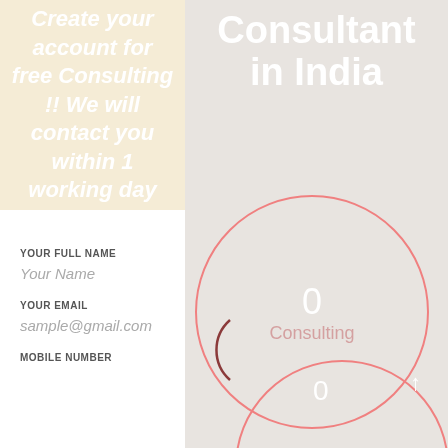Create your account for free Consulting !! We will contact you within 1 working day
YOUR FULL NAME
Your Name
YOUR EMAIL
sample@gmail.com
MOBILE NUMBER
Consultant in India
[Figure (infographic): Circular gauge/stat graphic showing '0 Consulting' in a pink-bordered circle on a gray background, with a partial second circle below showing '0' and an upward arrow]